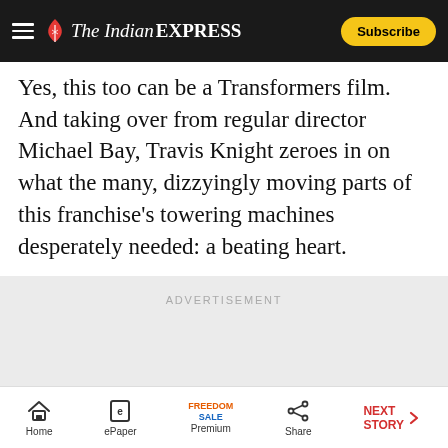The Indian Express — Subscribe
Yes, this too can be a Transformers film. And taking over from regular director Michael Bay, Travis Knight zeroes in on what the many, dizzyingly moving parts of this franchise's towering machines desperately needed: a beating heart.
[Figure (other): Advertisement placeholder area with light gray background]
Home | ePaper | Premium | Share | NEXT STORY